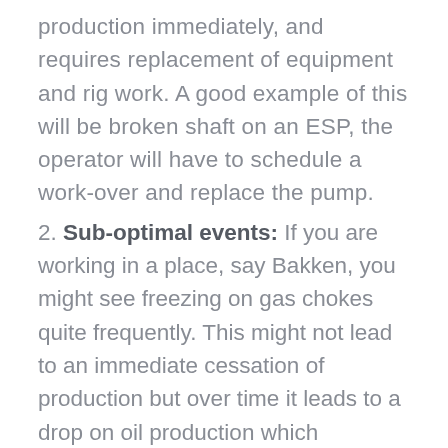production immediately, and requires replacement of equipment and rig work. A good example of this will be broken shaft on an ESP, the operator will have to schedule a work-over and replace the pump.
2. Sub-optimal events: If you are working in a place, say Bakken, you might see freezing on gas chokes quite frequently. This might not lead to an immediate cessation of production but over time it leads to a drop on oil production which accumulates to a significant volume over time.